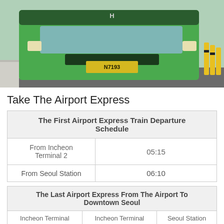[Figure (photo): Green Hyundai bus (plate N7193) at an airport terminal or station, front view, parked on a road with bollards visible on the right.]
Take The Airport Express
| The First Airport Express Train Departure Schedule |  |
| --- | --- |
| From Incheon Terminal 2 | 05:15 |
| From Seoul Station | 06:10 |
| The Last Airport Express From The Airport To Downtown Seoul |
| --- |
| Incheon Terminal | Incheon Terminal | Seoul Station |
READ NEXT